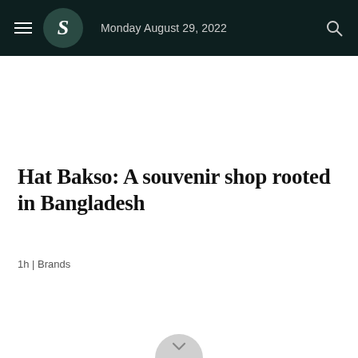Monday August 29, 2022
Hat Bakso: A souvenir shop rooted in Bangladesh
1h | Brands